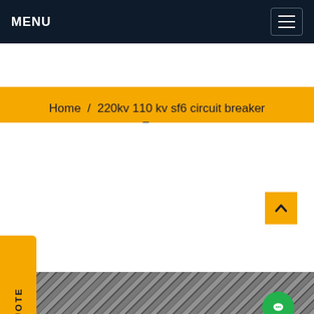MENU
Home / 220kv 110 kv sf6 circuit breaker Egypt
REQUEST A QUOTE
[Figure (illustration): Green circular chat/message icon button on white background]
[Figure (illustration): Yellow back-to-top button with upward caret arrow]
[Figure (photo): Bottom strip showing circuit breaker or electrical equipment imagery in black and white]